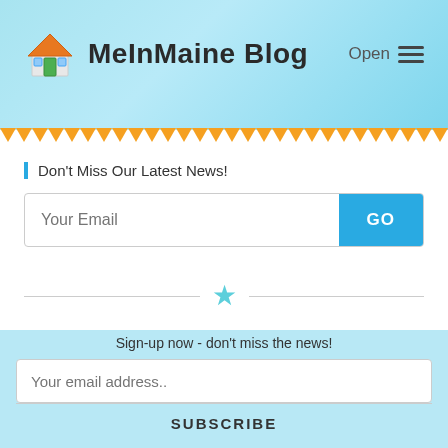MeInMaine Blog
Don't Miss Our Latest News!
Your Email
GO
[Figure (illustration): Teal star icon as section divider between two horizontal lines]
[Figure (screenshot): Video banner showing real estate content: 'atch Our Real Estate s' and 'Living On A Maine Lake | Playful O...' with thumbnail and arrow button]
Sign-up now - don't miss the news!
Your email address..
SUBSCRIBE